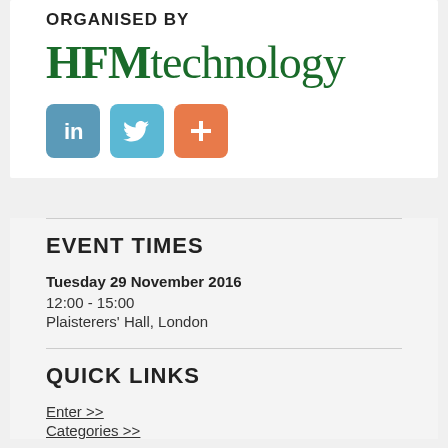ORGANISED BY
[Figure (logo): HFMTechnology logo in dark green serif/sans font]
[Figure (infographic): Three social media icons: LinkedIn (blue), Twitter (light blue), and a plus/add icon (orange)]
EVENT TIMES
Tuesday 29 November 2016
12:00 - 15:00
Plaisterers' Hall, London
QUICK LINKS
Enter >>
Categories >>